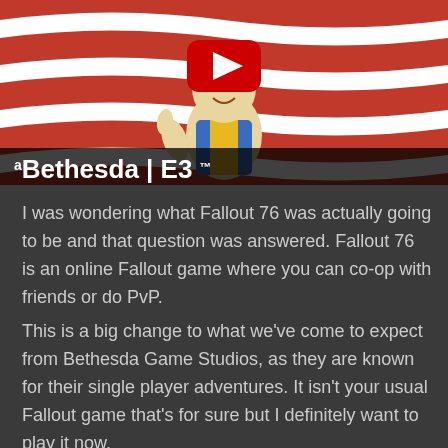[Figure (screenshot): YouTube video thumbnail showing a Fallout Vault Boy character in front of red and white wavy stripes (American flag style), with a red YouTube play button overlay. Bottom bar shows text: ᵃBethesda | E3 with trademark symbols]
I was wondering what Fallout 76 was actually going to be and that question was answered. Fallout 76 is an online Fallout game where you can co-op with friends or do PvP.
This is a big change to what we've come to expect from Bethesda Game Studios, as they are known for their single player adventures. It isn't your usual Fallout game that's for sure but I definitely want to play it now.